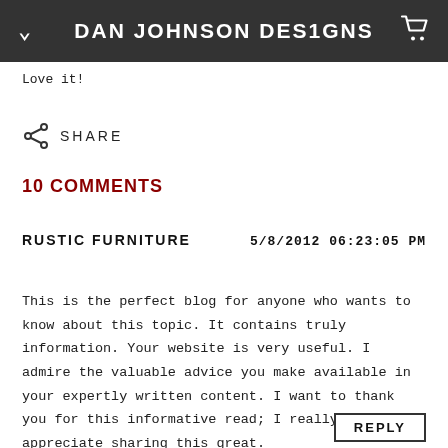DAN JOHNSON DESIGNS
Love it!
SHARE
10 COMMENTS
RUSTIC FURNITURE   5/8/2012 06:23:05 PM
This is the perfect blog for anyone who wants to know about this topic. It contains truly information. Your website is very useful. I admire the valuable advice you make available in your expertly written content. I want to thank you for this informative read; I really appreciate sharing this great.
REPLY